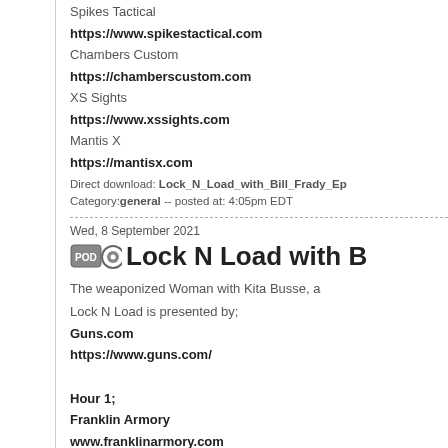Spikes Tactical
https://www.spikestactical.com
Chambers Custom
https://chamberscustom.com
XS Sights
https://www.xssights.com
Mantis X
https://mantisx.com
Direct download: Lock_N_Load_with_Bill_Frady_Ep... Category:general -- posted at: 4:05pm EDT
Wed, 8 September 2021
Lock N Load with B
The weaponized Woman with Kita Busse, a
Lock N Load is presented by;
Guns.com
https://www.guns.com/
Hour 1;
Franklin Armory
www.franklinarmory.com